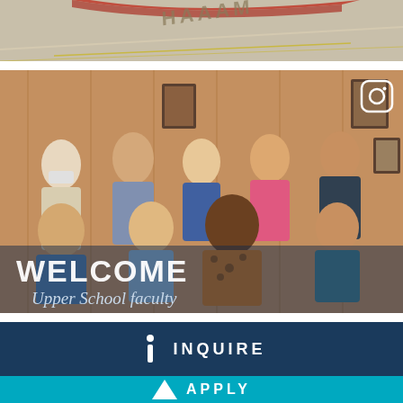[Figure (photo): Top partial photo showing a gymnasium floor with red court markings and text 'HAAAM' visible on the floor]
[Figure (photo): Group photo of Upper School faculty members posing in two rows in front of a wood-paneled wall with framed pictures. An Instagram icon is visible in the top right corner. Text overlay reads 'WELCOME Upper School faculty']
INQUIRE
APPLY